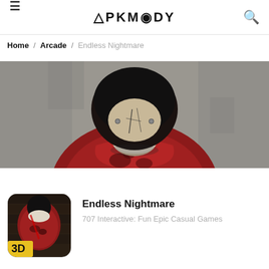≡  APKMODY  🔍
Home / Arcade / Endless Nightmare
[Figure (photo): Horror game banner image showing a person in a red shirt with a cracked mask face, looking down against a grey concrete background.]
[Figure (photo): Endless Nightmare app icon: person in red shirt viewed from above with 3D label badge, on a dark wooden floor background.]
Endless Nightmare
707 Interactive: Fun Epic Casual Games